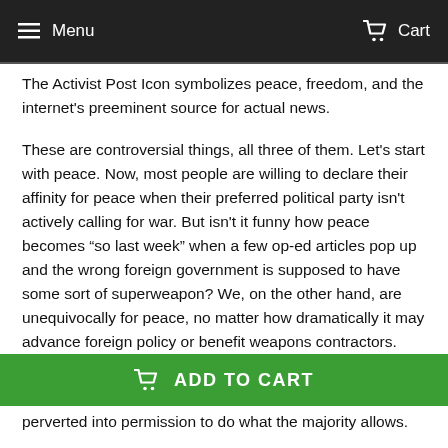Menu   Cart
The Activist Post Icon symbolizes peace, freedom, and the internet's preeminent source for actual news.
These are controversial things, all three of them. Let's start with peace. Now, most people are willing to declare their affinity for peace when their preferred political party isn't actively calling for war. But isn't it funny how peace becomes “so last week” when a few op-ed articles pop up and the wrong foreign government is supposed to have some sort of superweapon? We, on the other hand, are unequivocally for peace, no matter how dramatically it may advance foreign policy or benefit weapons contractors.
Freedom also has fair-weather friends, who are all for it until someone starts doing something which they don't
ADD TO CART
perverted into permission to do what the majority allows.